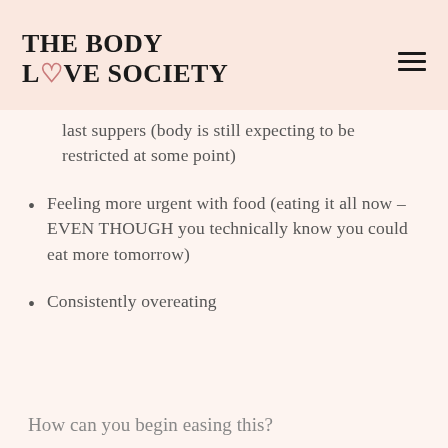THE BODY LOVE SOCIETY
last suppers (body is still expecting to be restricted at some point)
Feeling more urgent with food (eating it all now – EVEN THOUGH you technically know you could eat more tomorrow)
Consistently overeating
How can you begin easing this?